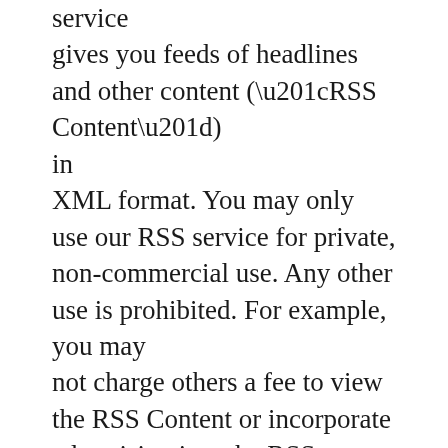service gives you feeds of headlines and other content (“RSS Content”) in XML format. You may only use our RSS service for private, non-commercial use. Any other use is prohibited. For example, you may not charge others a fee to view the RSS Content or incorporate advertising into the RSS Content. We may stop offering the RSS Content at any time and for any reason. We are not liable for your